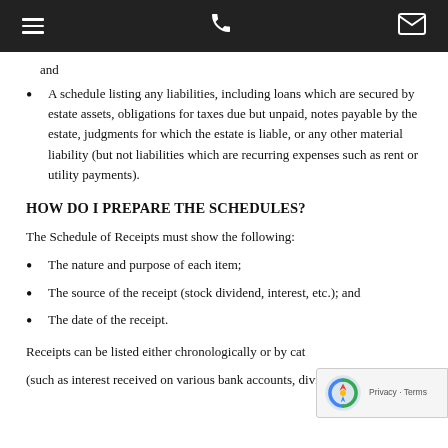[Navigation bar with hamburger menu, phone icon, and envelope icon]
and
A schedule listing any liabilities, including loans which are secured by estate assets, obligations for taxes due but unpaid, notes payable by the estate, judgments for which the estate is liable, or any other material liability (but not liabilities which are recurring expenses such as rent or utility payments).
HOW DO I PREPARE THE SCHEDULES?
The Schedule of Receipts must show the following:
The nature and purpose of each item;
The source of the receipt (stock dividend, interest, etc.); and
The date of the receipt.
Receipts can be listed either chronologically or by cat
(such as interest received on various bank accounts, dividends